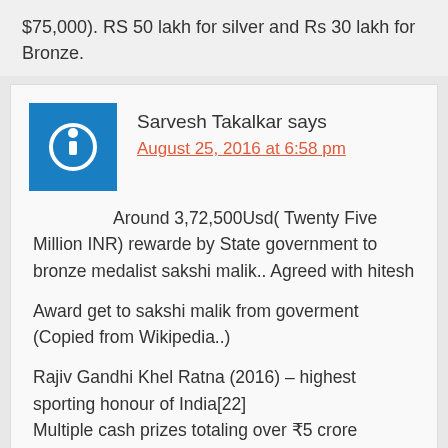$75,000). RS 50 lakh for silver and Rs 30 lakh for Bronze.
Sarvesh Takalkar says
August 25, 2016 at 6:58 pm

Around 3,72,500Usd( Twenty Five Million INR) rewarde by State government to bronze medalist sakshi malik.. Agreed with hitesh

Award get to sakshi malik from goverment (Copied from Wikipedia..)

Rajiv Gandhi Khel Ratna (2016) – highest sporting honour of India[22]
Multiple cash prizes totaling over ₹5 crore (US$740,000) from the Indian Railways, the Indian Olympic Association, the Ministry of